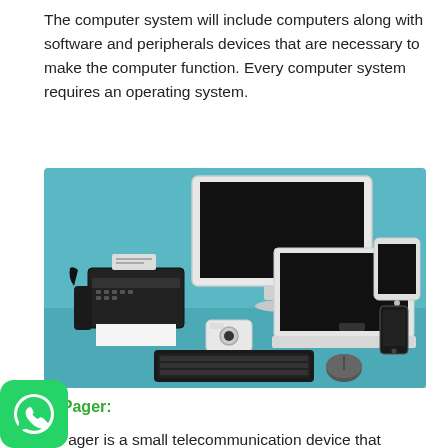The computer system will include computers along with software and peripherals devices that are necessary to make the computer function. Every computer system requires an operating system.
[Figure (photo): Photo of various computer peripherals and devices on a teal surface: desktop monitor, laptop, tablet, smartphone, fax machine/printer, telephone, digital camera, keyboard, and mouse.]
5. Pager:
A Pager is a small telecommunication device that receives and alert signals or short messages. It is the size of a pocket ator and has a built-in miniature keyboard and LCD screen